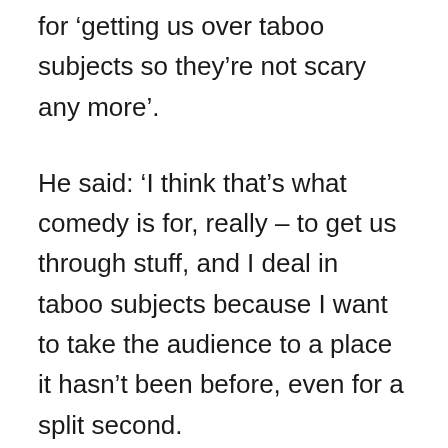for ‘getting us over taboo subjects so they’re not scary any more’.
He said: ‘I think that’s what comedy is for, really – to get us through stuff, and I deal in taboo subjects because I want to take the audience to a place it hasn’t been before, even for a split second.
‘Most offence comes from when